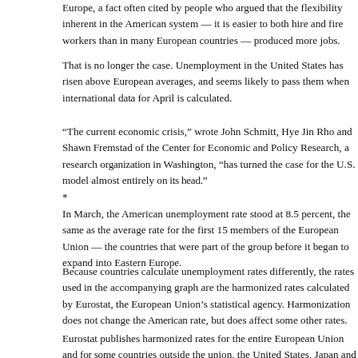Europe, a fact often cited by people who argued that the flexibility inherent in the American system — it is easier to both hire and fire workers than in many European countries — produced more jobs.
That is no longer the case. Unemployment in the United States has risen above European averages, and seems likely to pass them when international data for April is calculated.
“The current economic crisis,” wrote John Schmitt, Hye Jin Rho and Shawn Fremstad of the Center for Economic and Policy Research, a research organization in Washington, “has turned the case for the U.S. model almost entirely on its head.” *
In March, the American unemployment rate stood at 8.5 percent, the same as the average rate for the first 15 members of the European Union — the countries that were part of the group before it began to expand into Eastern Europe.
Because countries calculate unemployment rates differently, the rates used in the accompanying graph are the harmonized rates calculated by Eurostat, the European Union’s statistical agency. Harmonization does not change the American rate, but does affect some other rates.
Eurostat publishes harmonized rates for the entire European Union and for some countries outside the union, the United States, Japan and Turkey.